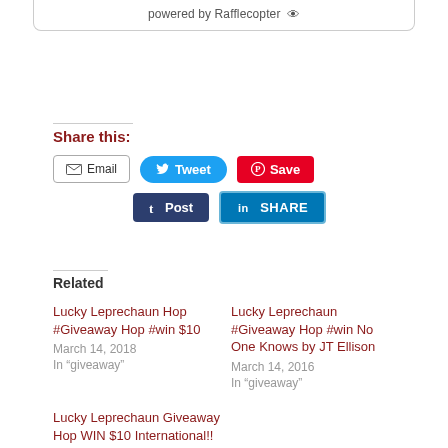powered by Rafflecopter
Share this:
[Figure (infographic): Social sharing buttons: Email, Tweet, Save (Pinterest), Post (Tumblr), Share (LinkedIn)]
Related
Lucky Leprechaun Hop #Giveaway Hop #win $10
March 14, 2018
In "giveaway"
Lucky Leprechaun #Giveaway Hop #win No One Knows by JT Ellison
March 14, 2016
In "giveaway"
Lucky Leprechaun Giveaway Hop WIN $10 International!!